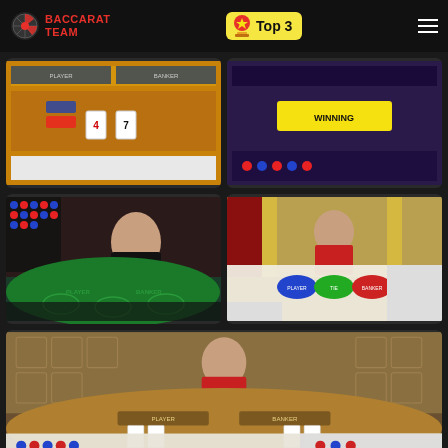Baccarat Team — Top 3
[Figure (screenshot): Baccarat game table screenshot with orange felt, card display showing 4 and 7]
[Figure (screenshot): Baccarat game table screenshot with purple felt showing 'Winning' overlay]
[Figure (screenshot): Live baccarat game with female dealer in black dress at green felt table showing PLAYER/BANKER]
[Figure (screenshot): Live baccarat game with female dealer in red dress at golden studio with betting road map]
[Figure (screenshot): Live baccarat game with female dealer in red dress at Asian-themed table with card placeholders]